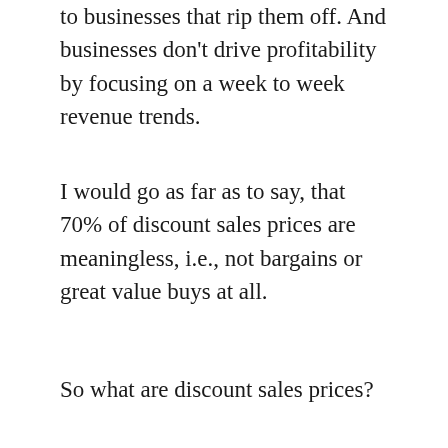to businesses that rip them off. And businesses don't drive profitability by focusing on a week to week revenue trends.
I would go as far as to say, that 70% of discount sales prices are meaningless, i.e., not bargains or great value buys at all.
So what are discount sales prices?